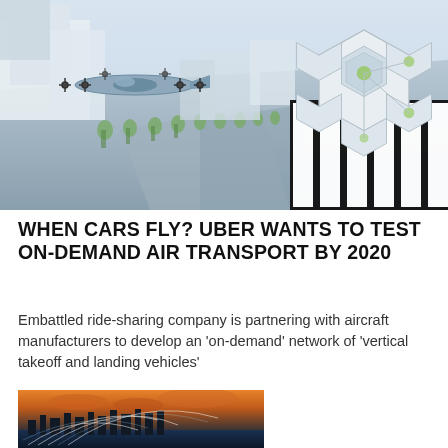[Figure (illustration): Aerial rendering of a futuristic urban air mobility scene: a multi-rotor electric aircraft (eVTOL) flying over a city, with a hexagonal vertiport/skyport structure on a rooftop in the upper right corner. Trees and white buildings visible below. Diagonal black-and-white striped pattern on rooftop edge.]
WHEN CARS FLY? UBER WANTS TO TEST ON-DEMAND AIR TRANSPORT BY 2020
Embattled ride-sharing company is partnering with aircraft manufacturers to develop an 'on-demand' network of 'vertical takeoff and landing vehicles'
[Figure (photo): Aerial night/sunset cityscape with light trails arcing over a city skyline near water, representing Uber's futuristic air transport network concept.]